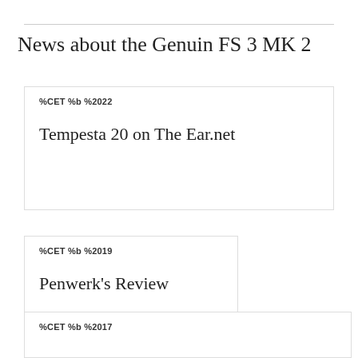News about the Genuin FS 3 MK 2
%CET %b %2022
Tempesta 20 on The Ear.net
%CET %b %2019
Penwerk's Review
%CET %b %2017